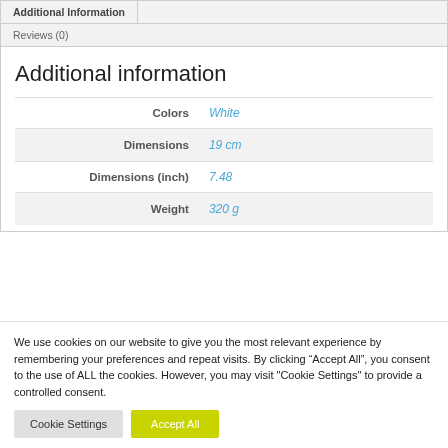Additional Information
Reviews (0)
Additional information
| Attribute | Value |
| --- | --- |
| Colors | White |
| Dimensions | 19 cm |
| Dimensions (inch) | 7.48 |
| Weight | 320 g |
We use cookies on our website to give you the most relevant experience by remembering your preferences and repeat visits. By clicking “Accept All”, you consent to the use of ALL the cookies. However, you may visit "Cookie Settings" to provide a controlled consent.
Cookie Settings  Accept All